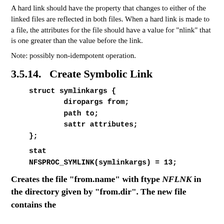A hard link should have the property that changes to either of the linked files are reflected in both files. When a hard link is made to a file, the attributes for the file should have a value for "nlink" that is one greater than the value before the link.
Note: possibly non-idempotent operation.
3.5.14.   Create Symbolic Link
struct symlinkargs {
        diropargs from;
        path to;
        sattr attributes;
};
stat
NFSPROC_SYMLINK(symlinkargs) = 13;
Creates the file "from.name" with ftype NFLNK in the directory given by "from.dir". The new file contains the